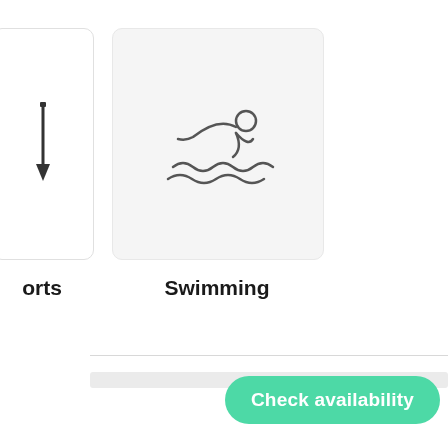[Figure (illustration): Partially visible card with a downward arrow icon representing sports]
orts
[Figure (illustration): Card with a swimming icon (person swimming with waves) labeled Swimming]
Swimming
Check availability